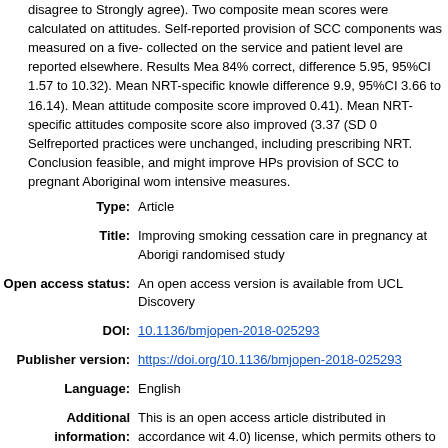disagree to Strongly agree). Two composite mean scores were calculated on attitudes. Self-reported provision of SCC components was measured on a five- collected on the service and patient level are reported elsewhere. Results Mea 84% correct, difference 5.95, 95%CI 1.57 to 10.32). Mean NRT-specific knowle difference 9.9, 95%CI 3.66 to 16.14). Mean attitude composite score improved 0.41). Mean NRT-specific attitudes composite score also improved (3.37 (SD 0 Selfreported practices were unchanged, including prescribing NRT. Conclusion feasible, and might improve HPs provision of SCC to pregnant Aboriginal wom intensive measures.
| Field | Value |
| --- | --- |
| Type: | Article |
| Title: | Improving smoking cessation care in pregnancy at Aboriginal randomised study |
| Open access status: | An open access version is available from UCL Discovery |
| DOI: | 10.1136/bmjopen-2018-025293 |
| Publisher version: | https://doi.org/10.1136/bmjopen-2018-025293 |
| Language: | English |
| Additional information: | This is an open access article distributed in accordance with 4.0) license, which permits others to distribute, remix, adap derivative works on different terms, provided the original wo indicated, and the use is non-commercial. See: http://creati |
|  | UCL
UCL > Provost and Vice Provost Offices > School of Life an
UCL > Provost and Vice Provost Offices > School of Life |